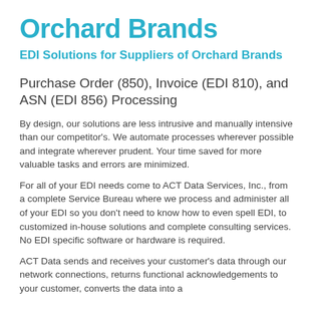Orchard Brands
EDI Solutions for Suppliers of Orchard Brands
Purchase Order (850), Invoice (EDI 810), and ASN (EDI 856) Processing
By design, our solutions are less intrusive and manually intensive than our competitor's. We automate processes wherever possible and integrate wherever prudent. Your time saved for more valuable tasks and errors are minimized.
For all of your EDI needs come to ACT Data Services, Inc., from a complete Service Bureau where we process and administer all of your EDI so you don't need to know how to even spell EDI, to customized in-house solutions and complete consulting services. No EDI specific software or hardware is required.
ACT Data sends and receives your customer's data through our network connections, returns functional acknowledgements to your customer, converts the data into a